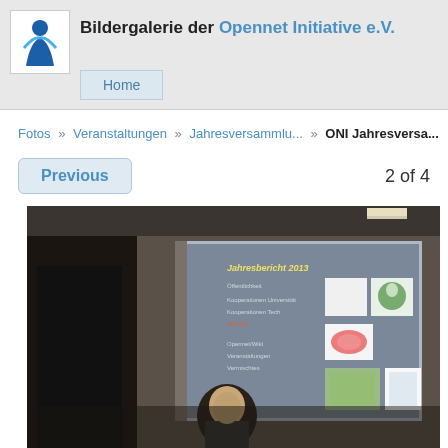Bildergalerie der Opennet Initiative e.V.
Fotos » Veranstaltungen » Jahresversammlu... » ONI Jahresversa...
Previous   2 of 4
[Figure (photo): A person standing in front of a projected presentation slide showing 'Jahresbericht 2013' with logos, in a conference room setting.]